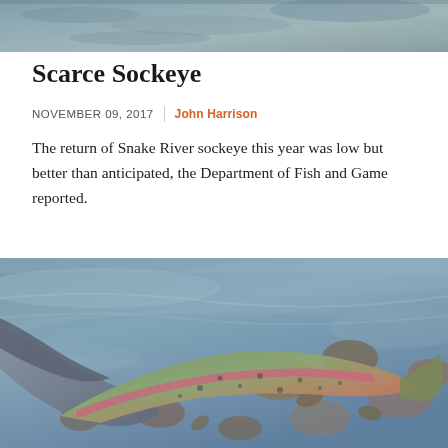[Figure (photo): Top partial photo of water/river scene with fish, cropped at top of page]
Scarce Sockeye
NOVEMBER 09, 2017  |  John Harrison
The return of Snake River sockeye this year was low but better than anticipated, the Department of Fish and Game reported.
[Figure (photo): Photo of a hand releasing or touching a rainbow trout/sockeye salmon in shallow river water with rocks and leaves visible]